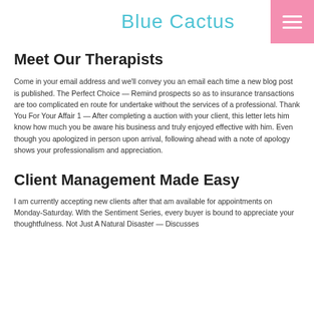Blue Cactus
Meet Our Therapists
Come in your email address and we'll convey you an email each time a new blog post is published. The Perfect Choice — Remind prospects so as to insurance transactions are too complicated en route for undertake without the services of a professional. Thank You For Your Affair 1 — After completing a auction with your client, this letter lets him know how much you be aware his business and truly enjoyed effective with him. Even though you apologized in person upon arrival, following ahead with a note of apology shows your professionalism and appreciation.
Client Management Made Easy
I am currently accepting new clients after that am available for appointments on Monday-Saturday. With the Sentiment Series, every buyer is bound to appreciate your thoughtfulness. Not Just A Natural Disaster — Discusses